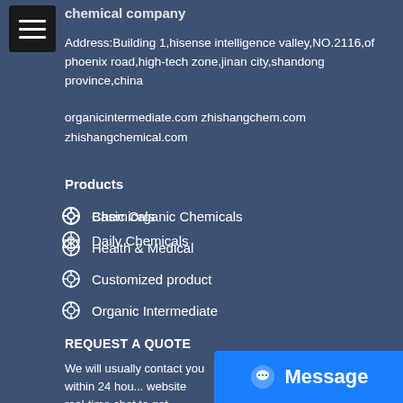chemical company
Address:Building 1,hisense intelligence valley,NO.2116,of phoenix road,high-tech zone,jinan city,shandong province,china
organicintermediate.com zhishangchem.com zhishangchemical.com
Products
Chemicals
Health & Medical
Customized product
Organic Intermediate
Basic Organic Chemicals
Daily Chemicals
REQUEST A QUOTE
We will usually contact you within 24 hou... website real-time chat to get prompt ans...